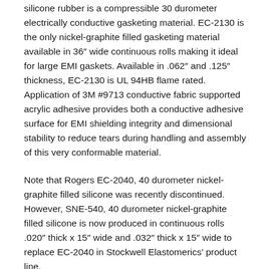silicone rubber is a compressible 30 durometer electrically conductive gasketing material. EC-2130 is the only nickel-graphite filled gasketing material available in 36″ wide continuous rolls making it ideal for large EMI gaskets. Available in .062″ and .125″ thickness, EC-2130 is UL 94HB flame rated. Application of 3M #9713 conductive fabric supported acrylic adhesive provides both a conductive adhesive surface for EMI shielding integrity and dimensional stability to reduce tears during handling and assembly of this very conformable material.
Note that Rogers EC-2040, 40 durometer nickel-graphite filled silicone was recently discontinued. However, SNE-540, 40 durometer nickel-graphite filled silicone is now produced in continuous rolls .020″ thick x 15″ wide and .032″ thick x 15″ wide to replace EC-2040 in Stockwell Elastomerics' product line.